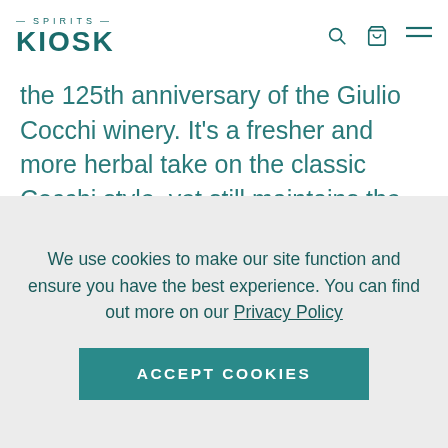SPIRITS KIOSK
the 125th anniversary of the Giulio Cocchi winery. It's a fresher and more herbal take on the classic Cocchi style, yet still maintains the Vermouth di...
£40.95
VIEW >
We use cookies to make our site function and ensure you have the best experience. You can find out more on our Privacy Policy
ACCEPT COOKIES